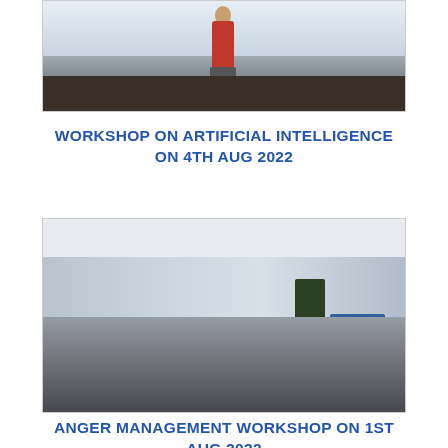[Figure (photo): A presenter standing in front of a screen addressing an audience at a workshop on Artificial Intelligence]
WORKSHOP ON ARTIFICIAL INTELLIGENCE
ON 4TH AUG 2022
[Figure (photo): Students sitting on the floor in a large room attending an Anger Management Workshop, with presenters and a podium at the front]
ANGER MANAGEMENT WORKSHOP ON 1ST
AUG 2022